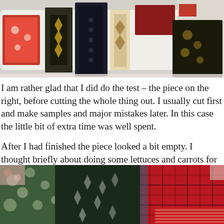[Figure (photo): Top photo showing fabric swatches and textile samples arranged on a white surface, including red patterned fabrics, dark embroidered pieces, and decorative trim samples.]
I am rather glad that I did do the test – the piece on the right, before cutting the whole thing out.  I usually cut first and make samples and major mistakes later.  In this case the little bit of extra time was well spent.

After I had finished the piece looked a bit empty.  I thought briefly about doing some lettuces and carrots for a rabbits' picnic, but my sketches were really a bit too twee.  I fell back on good old flowers.
[Figure (photo): Bottom photo showing colorful patchwork quilted fabrics with floral, geometric, and plaid patterns in green, red, blue, and multicolor fabrics layered together.]